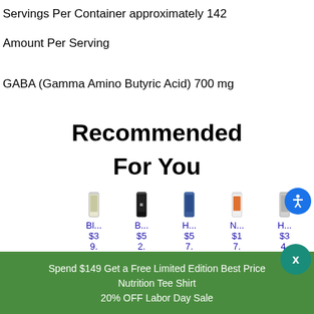Servings Per Container approximately 142
Amount Per Serving
GABA (Gamma Amino Butyric Acid) 700 mg
Recommended
For You
[Figure (screenshot): Five product thumbnails (supplement bottles) arranged in a row with abbreviated names (Bl..., B..., H..., N..., H...) and prices ($39.99, $52.99, $57.99, $17.99, $34.99) shown in blue text beneath each image.]
Spend $149 Get a Free Limited Edition Best Price Nutrition Tee Shirt
20% OFF Labor Day Sale